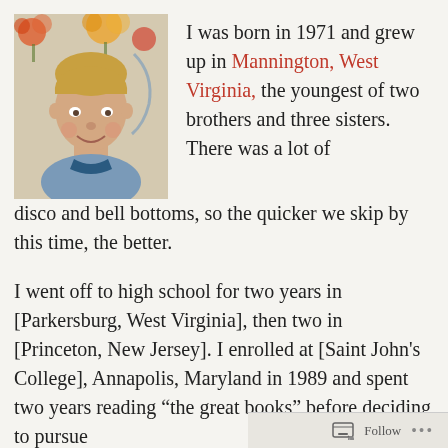[Figure (photo): A young boy with light blond hair, wearing a blue short-sleeve shirt, smiling at the camera. Colorful flowers visible in the background.]
I was born in 1971 and grew up in Mannington, West Virginia, the youngest of two brothers and three sisters. There was a lot of disco and bell bottoms, so the quicker we skip by this time, the better.
I went off to high school for two years in [Parkersburg, West Virginia], then two in [Princeton, New Jersey]. I enrolled at [Saint John's College], Annapolis, Maryland in 1989 and spent two years reading “the great books” before deciding to pursue
Follow ...